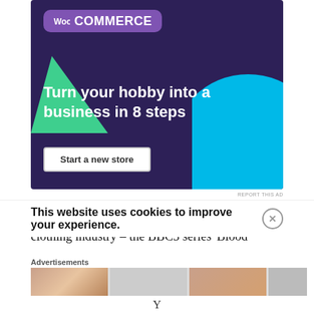[Figure (other): WooCommerce advertisement banner with purple background, WooCommerce logo, green triangle decoration, cyan circle decoration, headline 'Turn your hobby into a business in 8 steps', and 'Start a new store' CTA button]
REPORT THIS AD
Of course sweat shop labour is not limited to the clothing industry – the BBC3 series 'Blood
This website uses cookies to improve your experience.
Advertisements